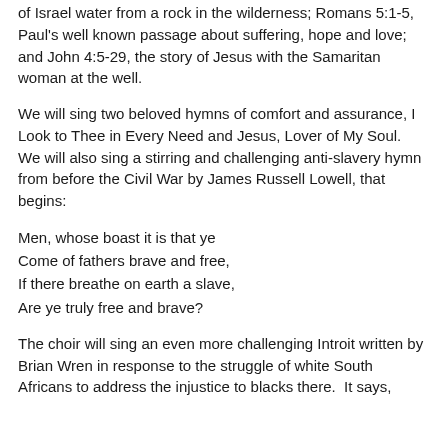of Israel water from a rock in the wilderness; Romans 5:1-5, Paul's well known passage about suffering, hope and love; and John 4:5-29, the story of Jesus with the Samaritan woman at the well.
We will sing two beloved hymns of comfort and assurance, I Look to Thee in Every Need and Jesus, Lover of My Soul.  We will also sing a stirring and challenging anti-slavery hymn from before the Civil War by James Russell Lowell, that begins:
Men, whose boast it is that ye
Come of fathers brave and free,
If there breathe on earth a slave,
Are ye truly free and brave?
The choir will sing an even more challenging Introit written by Brian Wren in response to the struggle of white South Africans to address the injustice to blacks there.  It says,